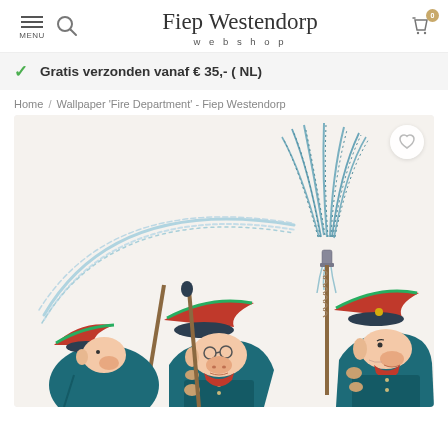Fiep Westendorp webshop
Gratis verzonden vanaf € 35,- ( NL)
Home / Wallpaper 'Fire Department' - Fiep Westendorp
[Figure (photo): Illustration by Fiep Westendorp showing three cartoon firefighter pig-like characters in dark navy uniforms and red hats, holding long poles/hoses, with streams of water spraying upward in arcs on a light background]